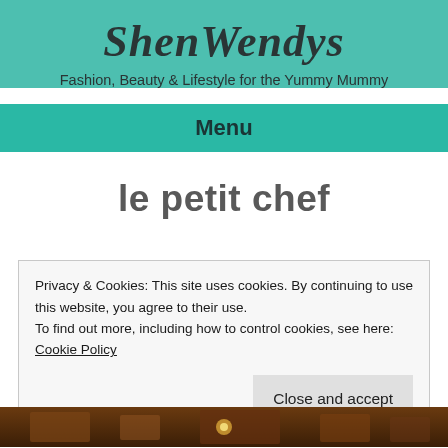ShenWendys
Fashion, Beauty & Lifestyle for the Yummy Mummy
Menu
le petit chef
Privacy & Cookies: This site uses cookies. By continuing to use this website, you agree to their use.
To find out more, including how to control cookies, see here: Cookie Policy
Close and accept
[Figure (photo): Bottom strip showing a dimly lit interior scene, brownish tones]